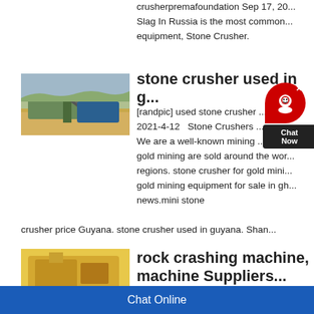crusherpremafoundation Sep 17, 20... Slag In Russia is the most common... equipment, Stone Crusher.
[Figure (photo): Outdoor stone crusher / mining equipment setup with conveyor belts against a hilly landscape]
stone crusher used in g...
[randpic] used stone crusher ... 2021-4-12  Stone Crushers ... We are a well-known mining ... gold mining are sold around the wor... regions. stone crusher for gold mini... gold mining equipment for sale in gh... news.mini stone
crusher price Guyana. stone crusher used in guyana. Shan...
[Figure (photo): Yellow/gold colored rock crashing machine or stone crusher industrial equipment]
rock crashing machine, machine Suppliers...
Chat Online